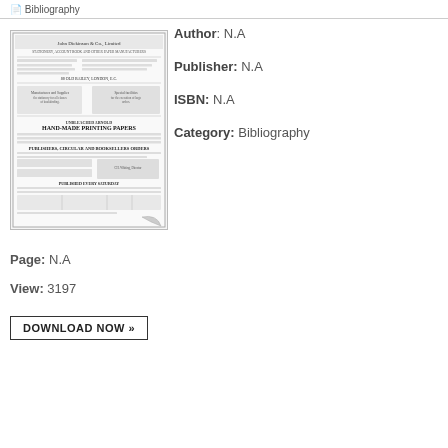Bibliography
[Figure (illustration): Thumbnail image of a historical newspaper/advertisement page for John Dickinson & Co. Limited, showing text about hand-made printing papers at 88 Old Bailey, London.]
Author: N.A
Publisher: N.A
ISBN: N.A
Category: Bibliography
Page: N.A
View: 3197
DOWNLOAD NOW »